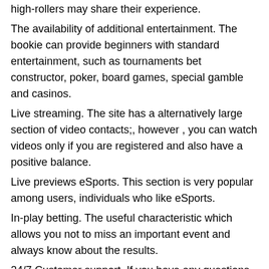high-rollers may share their experience.
The availability of additional entertainment. The bookie can provide beginners with standard entertainment, such as tournaments bet constructor, poker, board games, special gamble and casinos.
Live streaming. The site has a alternatively large section of video contacts;, however , you can watch videos only if you are registered and also have a positive balance.
Live previews eSports. This section is very popular among users, individuals who like eSports.
In-play betting. The useful characteristic which allows you not to miss an important event and always know about the results.
24/7 Customer support. If you have any questions or proposals, you may contact customer support at any time.
A comprehensive guide to the 1xBet sport betting
This guide will be helpful for those who want to learn how to